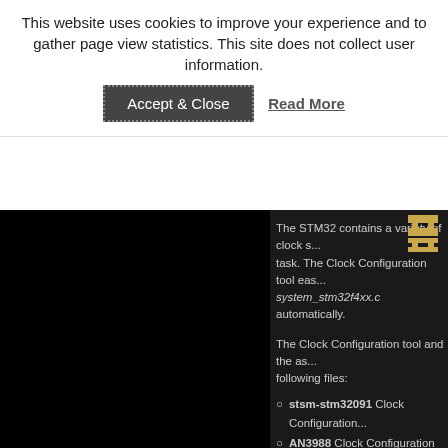This website uses cookies to improve your experience and to gather page view statistics. This site does not collect user information.
Accept & Close
Read More
The STM32 contains a variety of clock s... task. The Clock Configuration tool eas... system_stm32f4xx.c automatically.
The Clock Configuration tool and the as... following files:
stsm-stm32091 Clock Configuration...
AN3988 Clock Configuration Tool Us...
Tags: Electronics, Software Development, STM3...
Thursday, March 28th, 2013 at 10:53 am • Electr...
Comments are closed.